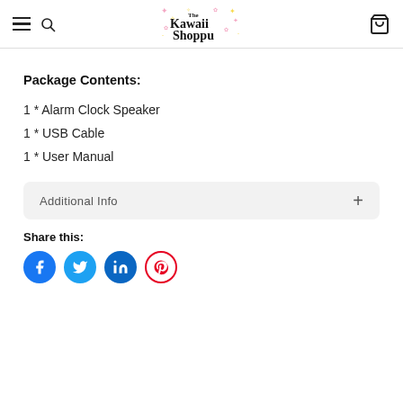The Kawaii Shoppu
Package Contents:
1 * Alarm Clock Speaker
1 * USB Cable
1 * User Manual
Additional Info
Share this: